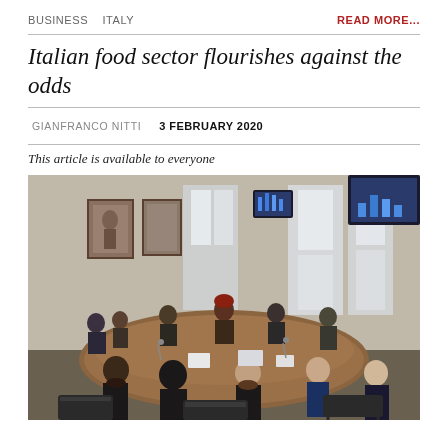BUSINESS   ITALY
READ MORE...
Italian food sector flourishes against the odds
GIANFRANCO NITTI   3 FEBRUARY 2020
This article is available to everyone
[Figure (photo): A large conference room with many people seated around a long oval table. Paintings hang on the walls, and two screens showing data/slides are visible. The setting appears to be a formal government or institutional meeting room.]